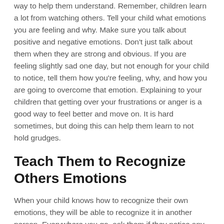way to help them understand. Remember, children learn a lot from watching others. Tell your child what emotions you are feeling and why. Make sure you talk about positive and negative emotions. Don't just talk about them when they are strong and obvious. If you are feeling slightly sad one day, but not enough for your child to notice, tell them how you're feeling, why, and how you are going to overcome that emotion. Explaining to your children that getting over your frustrations or anger is a good way to feel better and move on. It is hard sometimes, but doing this can help them learn to not hold grudges.
Teach Them to Recognize Others Emotions
When your child knows how to recognize their own emotions, they will be able to recognize it in another person. Everywhere you go, ask them if they notice any emotions and can tell how someone is feeling. Once they are able to recognize and identify the emotions in others, they will be...